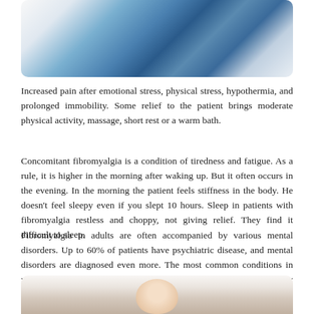[Figure (photo): Photo of medical professionals in white coats with stethoscopes, cropped showing torsos]
Increased pain after emotional stress, physical stress, hypothermia, and prolonged immobility. Some relief to the patient brings moderate physical activity, massage, short rest or a warm bath.
Concomitant fibromyalgia is a condition of tiredness and fatigue. As a rule, it is higher in the morning after waking up. But it often occurs in the evening. In the morning the patient feels stiffness in the body. He doesn't feel sleepy even if you slept 10 hours. Sleep in patients with fibromyalgia restless and choppy, not giving relief. They find it difficult to sleep.
Fibromyalgia in adults are often accompanied by various mental disorders. Up to 60% of patients have psychiatric disease, and mental disorders are diagnosed even more. The most common conditions in patients with fibromyalgia are depression and anxiety disorders. They can't concentrate, you feel "the fog" and lethargy.
[Figure (photo): Photo of a person (head visible at bottom), partial view]